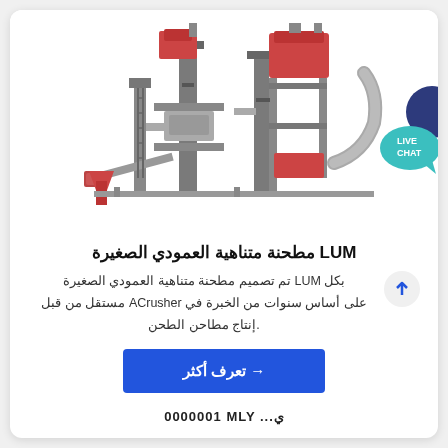[Figure (photo): Industrial LUM ultrafine vertical grinding mill machine — large grey/steel structure with red accents, multiple towers, conveyor belts and ducts, 3D render on white background]
LUM مطحنة متناهية العمودي الصغيرة
بكل LUM تم تصميم مطحنة متناهية العمودي الصغيرة على أساس سنوات من الخبرة في ACrusher مستقل من قبل إنتاج مطاحن الطحن.
تعرف أكثر →
0000001 MLY ...ي